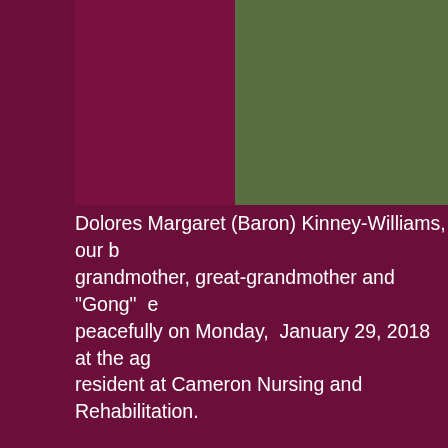[Figure (photo): Top portion of a memorial page showing a dark maroon background on the left and an olive/green background on the right, representing a partially visible portrait photo.]
Dolores Margaret (Baron) Kinney-Williams, our beloved mother, grandmother, great-grandmother and "Gong" entered peacefully on Monday, January 29, 2018 at the age of 86, a resident at Cameron Nursing and Rehabilitation.
She was born on November 28, 1931 a daughter of Margaret (Griffith) Baron. She was a 1949 graduate of Cameron High School. She was an active Cameron Community member and board member at the Cameron Community Health Center and Cameron Landmarks, a foster grandparent at Cameron Elementary School, a business woman and for many years an active EMT member at the Cameron E-Squad and taught CPR to many groups and individuals. She was a 4-H leader and in the Dry Ridge Homemakers Club. She attended